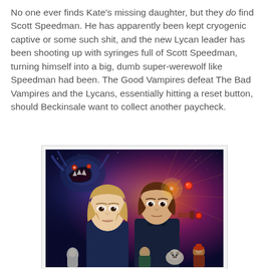No one ever finds Kate's missing daughter, but they do find Scott Speedman. He has apparently been kept cryogenic captive or some such shit, and the new Lycan leader has been shooting up with syringes full of Scott Speedman, turning himself into a big, dumb super-werewolf like Speedman had been. The Good Vampires defeat The Bad Vampires and the Lycans, essentially hitting a reset button, should Beckinsale want to collect another paycheck.
[Figure (photo): Colorful sci-fi movie poster featuring two protagonists (a young woman and a young man) in the foreground with alien creatures and space battle imagery in the background, featuring blue, purple, and red tones.]